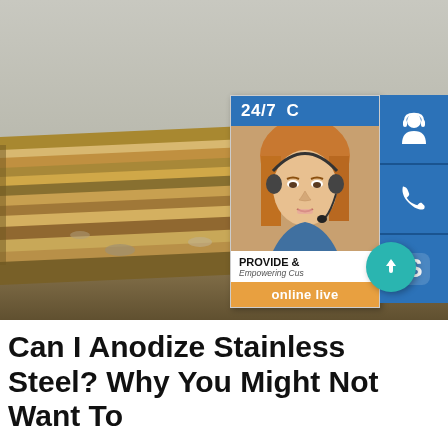[Figure (photo): Stack of rusty and weathered steel/metal plates piled on ground, with a live chat customer service widget overlay showing a headset-wearing woman, '24/7' header, icons for chat/phone/Skype, 'PROVIDE / Empowering Customers', 'online live' button, and a teal scroll-to-top arrow button.]
Can I Anodize Stainless Steel? Why You Might Not Want To